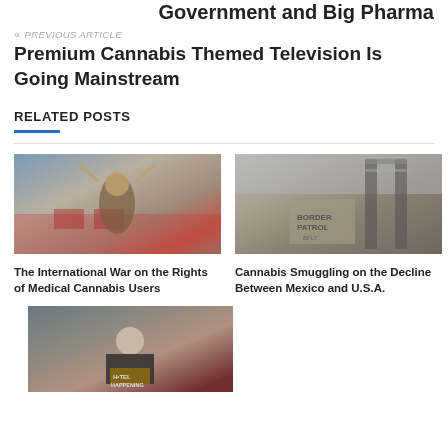Government and Big Pharma
« PREVIOUS ARTICLE
Premium Cannabis Themed Television Is Going Mainstream
RELATED POSTS
[Figure (photo): Person with raised arms wearing mask at outdoor protest/demonstration with crowd in background and red barriers]
The International War on the Rights of Medical Cannabis Users
[Figure (photo): Black and white photo of a weathered concrete sign reading BORDER PATROL with chain-link fence in background]
Cannabis Smuggling on the Decline Between Mexico and U.S.A.
[Figure (photo): Person standing in street holding a sign reading H•TEL HAPPENING]